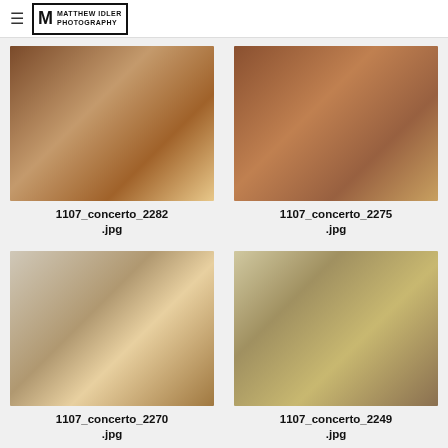Matthew Idler Photography
[Figure (photo): Interior living room with leather sofas, hardwood floor, fireplace]
1107_concerto_2282.jpg
[Figure (photo): Interior living room with leather sofas and coffee table]
1107_concerto_2275.jpg
[Figure (photo): Interior living room with high ceilings, staircase, ceiling fan, leather sofa]
1107_concerto_2270.jpg
[Figure (photo): Exterior of house, side view, trampoline in background]
1107_concerto_2249.jpg